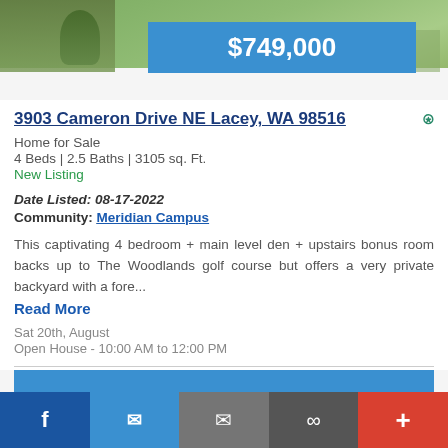[Figure (photo): Exterior/yard photo of property with green lawn and vegetation visible at top of page]
$749,000
3903 Cameron Drive NE Lacey, WA 98516
Home for Sale
4 Beds | 2.5 Baths | 3105 sq. Ft.
New Listing
Date Listed: 08-17-2022
Community: Meridian Campus
This captivating 4 bedroom + main level den + upstairs bonus room backs up to The Woodlands golf course but offers a very private backyard with a fore...
Read More
Sat 20th, August
Open House - 10:00 AM to 12:00 PM